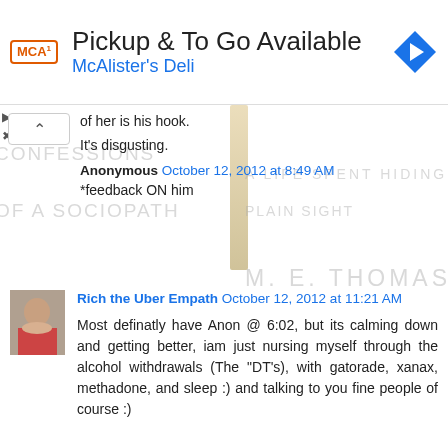[Figure (screenshot): Ad banner for McAlister's Deli showing logo, 'Pickup & To Go Available' headline, and a blue navigation arrow icon]
of her is his hook.
It's disgusting.
Anonymous October 12, 2012 at 8:49 AM
*feedback ON him
Rich the Uber Empath October 12, 2012 at 11:21 AM
Most definatly have Anon @ 6:02, but its calming down and getting better, iam just nursing myself through the alcohol withdrawals (The "DT's), with gatorade, xanax, methadone, and sleep :) and talking to you fine people of course :)